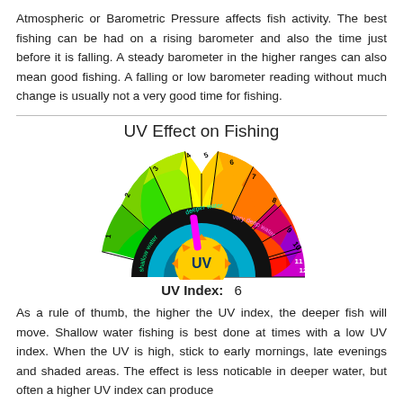Atmospheric or Barometric Pressure affects fish activity. The best fishing can be had on a rising barometer and also the time just before it is falling. A steady barometer in the higher ranges can also mean good fishing. A falling or low barometer reading without much change is usually not a very good time for fishing.
UV Effect on Fishing
[Figure (infographic): A semicircular UV index gauge showing numbers 1-12 arranged in colored arcs from green (low) to red/purple (high). The center shows a sun labeled 'UV'. A magenta pointer indicates UV Index 6. Text labels indicate 'shallow water', 'deeper water', and 'very deep water' at increasing UV levels.]
UV Index:   6
As a rule of thumb, the higher the UV index, the deeper fish will move. Shallow water fishing is best done at times with a low UV index. When the UV is high, stick to early mornings, late evenings and shaded areas. The effect is less noticable in deeper water, but often a higher UV index can produce